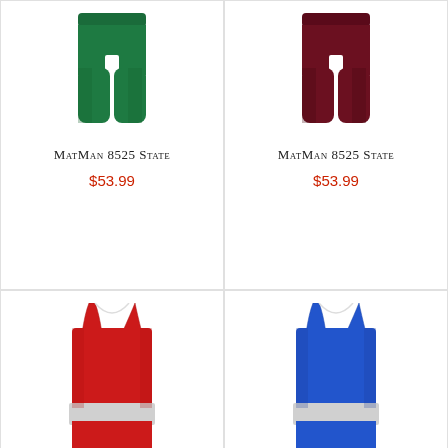[Figure (photo): Green wrestling shorts/compression shorts, top portion visible]
MatMan 8525 State
$53.99
[Figure (photo): Maroon wrestling shorts/compression shorts, top portion visible]
MatMan 8525 State
$53.99
[Figure (photo): Red wrestling singlet with white stripe]
[Figure (photo): Blue wrestling singlet with white stripe]
[Figure (other): Accessibility (wheelchair) icon badge in blue]
[Figure (logo): TrustedSite badge with green checkmark]